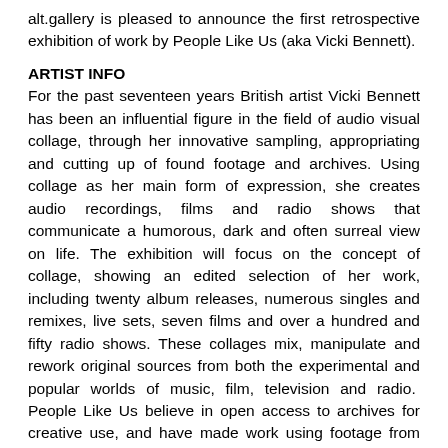alt.gallery is pleased to announce the first retrospective exhibition of work by People Like Us (aka Vicki Bennett).
ARTIST INFO
For the past seventeen years British artist Vicki Bennett has been an influential figure in the field of audio visual collage, through her innovative sampling, appropriating and cutting up of found footage and archives. Using collage as her main form of expression, she creates audio recordings, films and radio shows that communicate a humorous, dark and often surreal view on life. The exhibition will focus on the concept of collage, showing an edited selection of her work, including twenty album releases, numerous singles and remixes, live sets, seven films and over a hundred and fifty radio shows. These collages mix, manipulate and rework original sources from both the experimental and popular worlds of music, film, television and radio.  People Like Us believe in open access to archives for creative use, and have made work using footage from the Prelinger Archives, The Internet Archive, and A/V Geeks. In 2006 she was the first artist to be given unrestricted access to the entire BBC Archive. People Like Us have previously shown work at Tate Modern, Sydney Opera House, Pompidou Center and Sonar, and